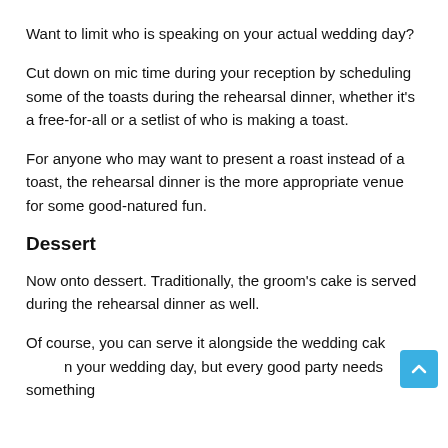Want to limit who is speaking on your actual wedding day?
Cut down on mic time during your reception by scheduling some of the toasts during the rehearsal dinner, whether it's a free-for-all or a setlist of who is making a toast.
For anyone who may want to present a roast instead of a toast, the rehearsal dinner is the more appropriate venue for some good-natured fun.
Dessert
Now onto dessert. Traditionally, the groom's cake is served during the rehearsal dinner as well.
Of course, you can serve it alongside the wedding cake on your wedding day, but every good party needs something